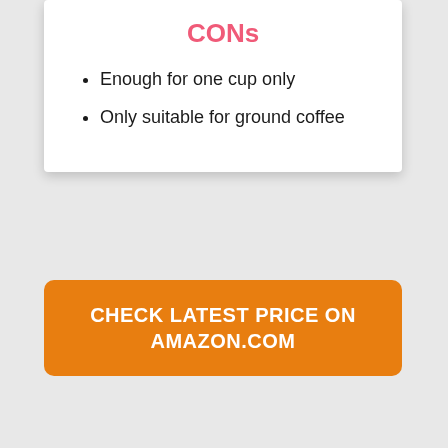CONs
Enough for one cup only
Only suitable for ground coffee
CHECK LATEST PRICE ON AMAZON.COM